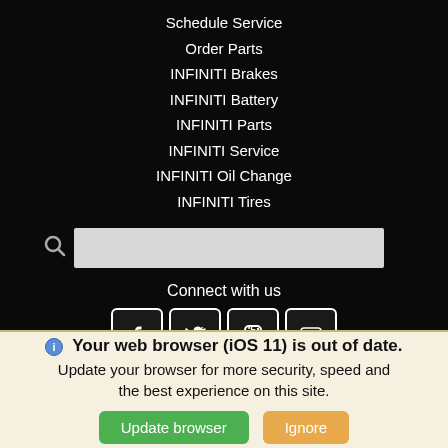Schedule Service
Order Parts
INFINITI Brakes
INFINITI Battery
INFINITI Parts
INFINITI Service
INFINITI Oil Change
INFINITI Tires
[Figure (screenshot): Search bar with magnifying glass icon on dark background]
Connect with us
[Figure (infographic): Social media icons: Facebook, Twitter, Instagram, YouTube]
Websites Powered By
[Figure (logo): Fox Dealer logo with yellow wing/leaf icon and FOX DEALER text]
Your web browser (iOS 11) is out of date. Update your browser for more security, speed and the best experience on this site.
Update browser   Ignore